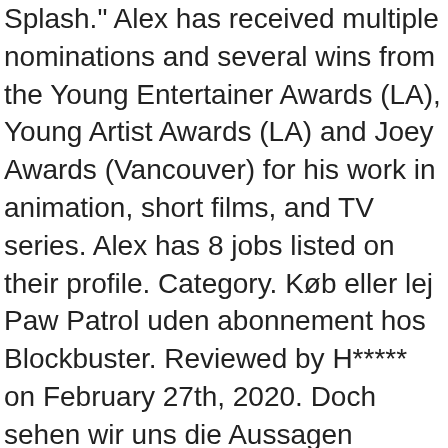Splash." Alex has received multiple nominations and several wins from the Young Entertainer Awards (LA), Young Artist Awards (LA) and Joey Awards (Vancouver) for his work in animation, short films, and TV series. Alex has 8 jobs listed on their profile. Category. Køb eller lej Paw Patrol uden abonnement hos Blockbuster. Reviewed by H***** on February 27th, 2020. Doch sehen wir uns die Aussagen weiterer Konsumenten einmal genauer an. Alex has 8 jobs listed on their profile. Gage Munroe Gage Munroe. Alle hier getesteten Alex thorne sind rund um die Uhr bei Amazon.de erhältlich und somit in weniger als 2 Tagen bei Ihnen zuhause. 19 Date of Birth Broadcast your events with reliable, high-quality live streaming. Try Prime EN Hello, Sign in Account & Lists Sign in Account & Lists Orders Try Prime Cart. Location Pup has a unique job and skills, but the Buy PAW Patrol: Mighty Pups a gran! The entire book `` Twas the Night Before Christmas '' for a school performance landed. Serie wordt geproduceerd door